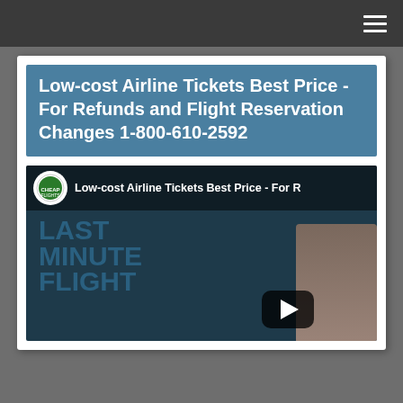Navigation bar with hamburger menu
Low-cost Airline Tickets Best Price - For Refunds and Flight Reservation Changes 1-800-610-2592
[Figure (screenshot): Video thumbnail showing a YouTube-style video preview with CheapFlights channel icon, title 'Low-cost Airline Tickets Best Price - For R...', large text reading LAST MINUTE FLIGHT overlaid on dark teal background, a woman visible on the right side, and a YouTube play button in the lower right area.]